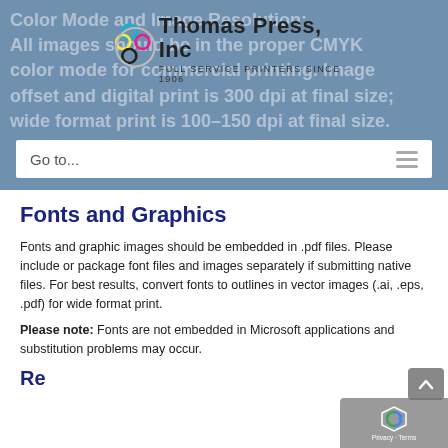[Figure (logo): Thomas Press, Inc logo with colorful circles and tagline 'Full Service Printers Since 1906']
Go to...
Fonts and Graphics
Fonts and graphic images should be embedded in .pdf files. Please include or package font files and images separately if submitting native files. For best results, convert fonts to outlines in vector images (.ai, .eps, .pdf) for wide format print.
Please note: Fonts are not embedded in Microsoft applications and substitution problems may occur.
Re...